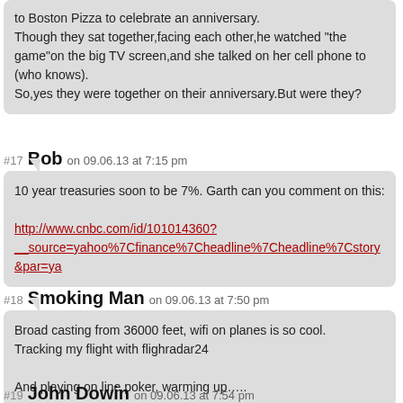to Boston Pizza to celebrate an anniversary.
Though they sat together,facing each other,he watched "the game"on the big TV screen,and she talked on her cell phone to (who knows).
So,yes they were together on their anniversary.But were they?
#17 Bob on 09.06.13 at 7:15 pm
10 year treasuries soon to be 7%. Garth can you comment on this:

http://www.cnbc.com/id/101014360?__source=yahoo%7Cfinance%7Cheadline%7Cheadline%7Cstory&par=ya
#18 Smoking Man on 09.06.13 at 7:50 pm
Broad casting from 36000 feet, wifi on planes is so cool.
Tracking my flight with flighradar24

And playing on line poker, warming up…..
#19 John Dowin on 09.06.13 at 7:54 pm